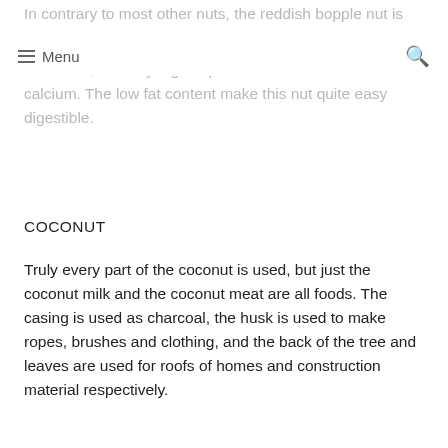In contrary to most other nuts, the reddish bopple nut is low on fat, but very high in potassium and calcium. The low fat content make this nut quite easy digestible.
Menu
COCONUT
Truly every part of the coconut is used, but just the coconut milk and the coconut meat are all foods. The casing is used as charcoal, the husk is used to make ropes, brushes and clothing, and the back of the tree and leaves are used for roofs of homes and construction material respectively.
The fruit of this hands'cocos nucifera' has an edible kernel and so qualifies as a nut. Coconut palms grow best near the beachfront but have been demonstrated to withstand high elevation, even though the production rate is diminishing as farther away from the